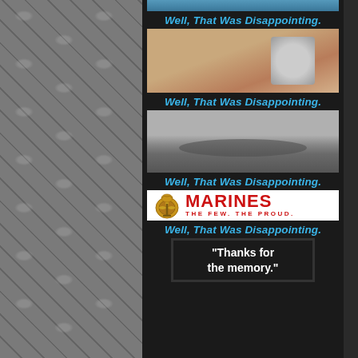[Figure (photo): Top strip image partially visible at top]
Well, That Was Disappointing.
[Figure (photo): Room interior with bare floor and small wheeled device/equipment against wall]
Well, That Was Disappointing.
[Figure (photo): Airplane on runway with trees in background, overcast sky]
Well, That Was Disappointing.
[Figure (photo): Marines - The Few. The Proud. banner/logo]
Well, That Was Disappointing.
[Figure (photo): Dark banner with text: Thanks for the memory.]